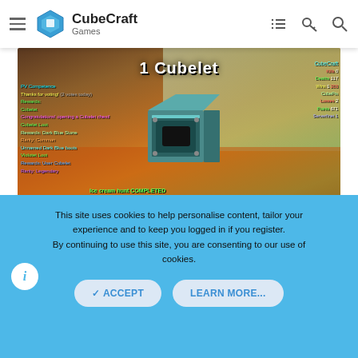CubeCraft Games
[Figure (screenshot): Minecraft screenshot showing a Cubelet chest being opened on the CubeCraft Games server, with '1 Cubelet' displayed at the top, chat overlay with reward messages, and a hotbar at the bottom.]
josepadgui
This site uses cookies to help personalise content, tailor your experience and to keep you logged in if you register.
By continuing to use this site, you are consenting to our use of cookies.